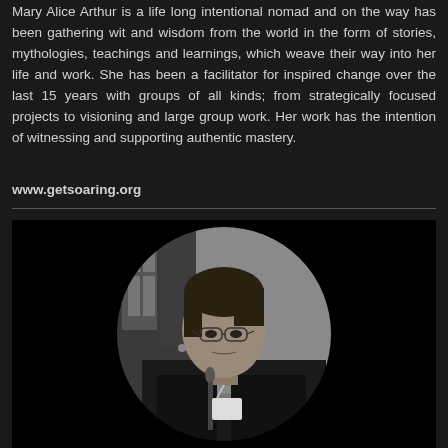Mary Alice Arthur is a life long intentional nomad and on the way has been gathering wit and wisdom from the world in the form of stories, mythologies, teachings and learnings, which weave their way into her life and work. She has been a facilitator for inspired change over the last 15 years with groups of all kinds; from strategically focused projects to visioning and large group work. Her work has the intention of witnessing and supporting authentic mastery.
www.getsoaring.org
[Figure (photo): Black and white circular portrait photo of Mary Alice Arthur, an older woman with short dark hair and glasses, speaking at a podium with a microphone, wearing a dark blazer and scarf, with a patterned background behind her.]